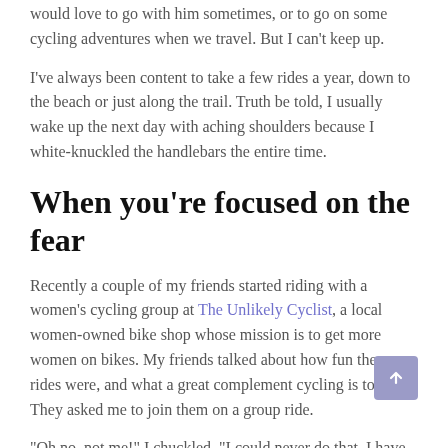would love to go with him sometimes, or to go on some cycling adventures when we travel. But I can't keep up.
I've always been content to take a few rides a year, down to the beach or just along the trail. Truth be told, I usually wake up the next day with aching shoulders because I white-knuckled the handlebars the entire time.
When you're focused on the fear
Recently a couple of my friends started riding with a women's cycling group at The Unlikely Cyclist, a local women-owned bike shop whose mission is to get more women on bikes. My friends talked about how fun the group rides were, and what a great complement cycling is to yoga. They asked me to join them on a group ride.
"Oh no, not me!" I chuckled. "I could never do that. I have real bike fears!"
"Why?" asked my friend, Jessy. She already told me she